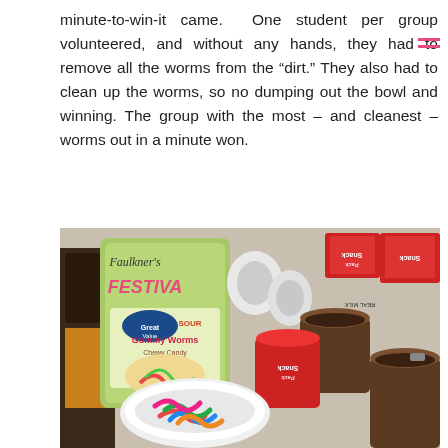minute-to-win-it came. One student per group volunteered, and without any hands, they had to remove all the worms from the “dirt.” They also had to clean up the worms, so no dumping out the bowl and winning. The group with the most – and cleanest – worms out in a minute won.
[Figure (photo): A table with supplies for the worm activity: a bag of Great Value Sour Gummy Worms Chewy Candy with Faulkner's FESTIVA branding overlay, a white paper bowl with colorful gummy worms in it, several Snack Pack chocolate pudding cups (some open), and boxes of cereal in the background.]